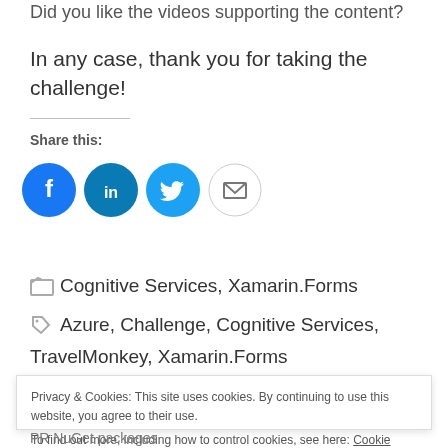Did you like the videos supporting the content?
In any case, thank you for taking the challenge!
Share this:
[Figure (other): Social share buttons: Facebook, LinkedIn, Twitter, Email]
Cognitive Services, Xamarin.Forms
Azure, Challenge, Cognitive Services, TravelMonkey, Xamarin.Forms
Privacy & Cookies: This site uses cookies. By continuing to use this website, you agree to their use.
To find out more, including how to control cookies, see here: Cookie Policy
PR NuGet packages